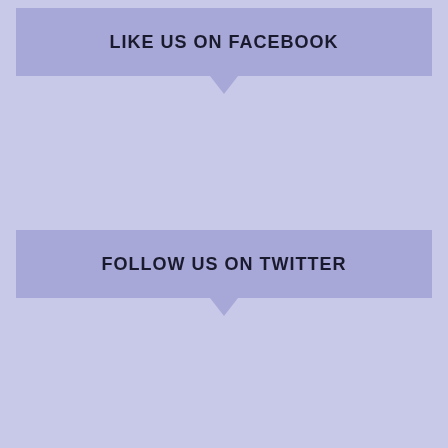LIKE US ON FACEBOOK
FOLLOW US ON TWITTER